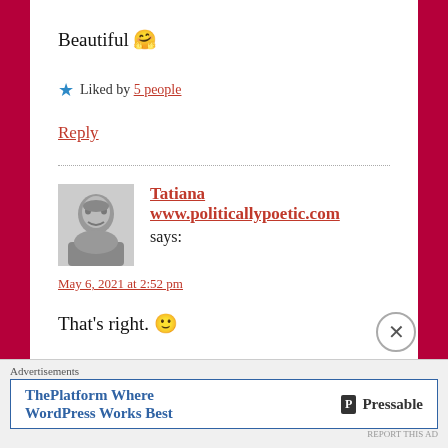Beautiful 🤗
★ Liked by 5 people
Reply
Tatiana www.politicallypoetic.com says:
May 6, 2021 at 2:52 pm
That's right. 🙂
Advertisements
ThePlatform Where WordPress Works Best — Pressable